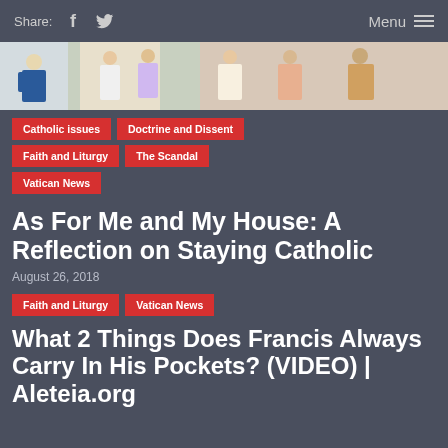Share: [facebook] [twitter]    Menu ≡
[Figure (photo): Partial view of a religious or classical painting showing robed figures]
Catholic Issues
Doctrine and Dissent
Faith and Liturgy
The Scandal
Vatican News
As For Me and My House: A Reflection on Staying Catholic
August 26, 2018
Faith and Liturgy
Vatican News
What 2 Things Does Francis Always Carry In His Pockets? (VIDEO) | Aleteia.org